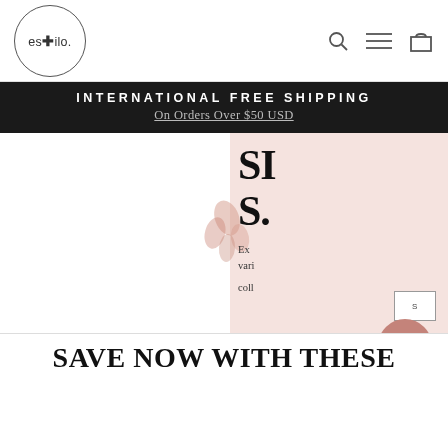[Figure (logo): Estilo brand logo — circle with 'es+ilo.' text inside]
INTERNATIONAL FREE SHIPPING
On Orders Over $50 USD
[Figure (illustration): Hero banner section showing partial text 'SI...' and 'S...' in large serif font on a blush pink background panel, with floral decoration and a small button outline.]
[Figure (illustration): Chat/messaging circular button in dusty rose/mauve color with three dots]
SAVE NOW WITH THESE